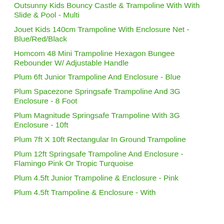Outsunny Kids Bouncy Castle & Trampoline With With Slide & Pool - Multi
Jouet Kids 140cm Trampoline With Enclosure Net - Blue/Red/Black
Homcom 48 Mini Trampoline Hexagon Bungee Rebounder W/ Adjustable Handle
Plum 6ft Junior Trampoline And Enclosure - Blue
Plum Spacezone Springsafe Trampoline And 3G Enclosure - 8 Foot
Plum Magnitude Springsafe Trampoline With 3G Enclosure - 10ft
Plum 7ft X 10ft Rectangular In Ground Trampoline
Plum 12ft Springsafe Trampoline And Enclosure - Flamingo Pink Or Tropic Turquoise
Plum 4.5ft Junior Trampoline & Enclosure - Pink
Plum 4.5ft Trampoline & Enclosure - With